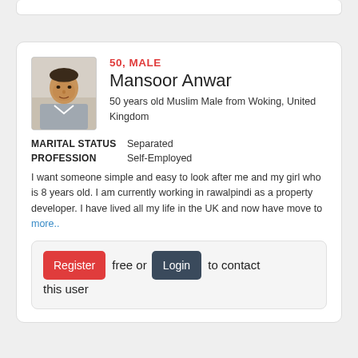50, MALE
Mansoor Anwar
50 years old Muslim Male from Woking, United Kingdom
MARITAL STATUS  Separated
PROFESSION  Self-Employed
I want someone simple and easy to look after me and my girl who is 8 years old. I am currently working in rawalpindi as a property developer. I have lived all my life in the UK and now have move to more..
Register free or Login to contact this user